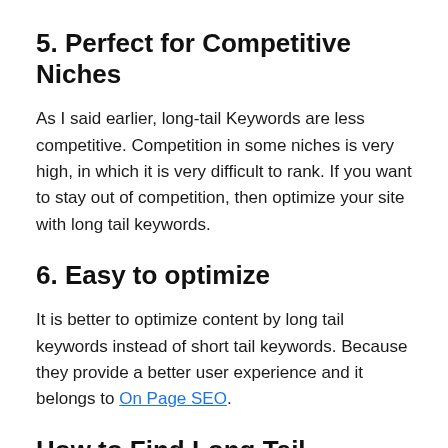5. Perfect for Competitive Niches
As I said earlier, long-tail Keywords are less competitive. Competition in some niches is very high, in which it is very difficult to rank. If you want to stay out of competition, then optimize your site with long tail keywords.
6. Easy to optimize
It is better to optimize content by long tail keywords instead of short tail keywords. Because they provide a better user experience and it belongs to On Page SEO.
How to Find Long Tail Keywords